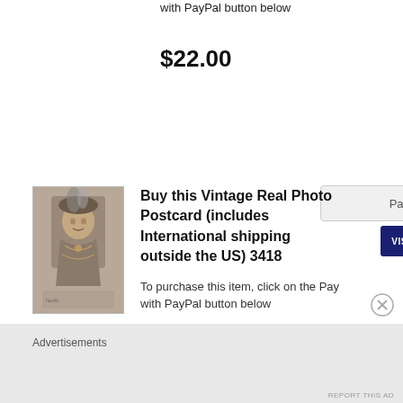with PayPal button below
$22.00
[Figure (other): PayPal payment button with card icons (Visa, Mastercard, Amex, Discover)]
[Figure (photo): Vintage sepia photo of a woman in historical costume with decorative hat]
Buy this Vintage Real Photo Postcard (includes International shipping outside the US) 3418
To purchase this item, click on the Pay with PayPal button below
Advertisements